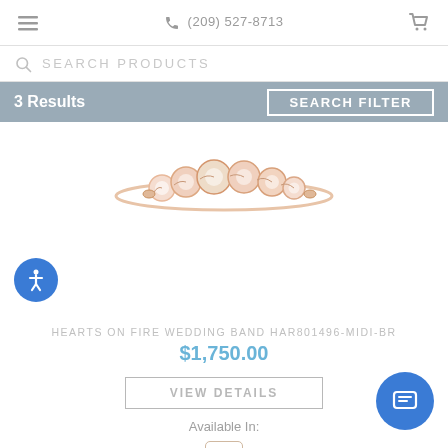(209) 527-8713
SEARCH PRODUCTS
3 Results  SEARCH FILTER
[Figure (photo): Hearts on Fire wedding band ring with rose gold setting and multiple round diamonds, product photo on white background]
HEARTS ON FIRE WEDDING BAND HAR801496-MIDI-BR
$1,750.00
VIEW DETAILS
Available In:
18K